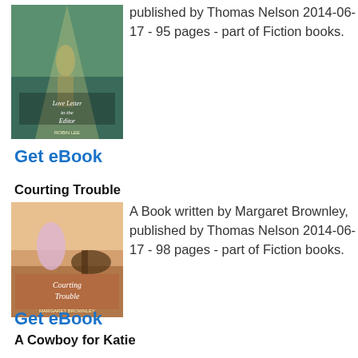[Figure (illustration): Book cover for 'Love Letter to the Editor' by Robin Lee Hatcher]
published by Thomas Nelson 2014-06-17 - 95 pages - part of Fiction books.
Get eBook
Courting Trouble
[Figure (illustration): Book cover for 'Courting Trouble' by Margaret Brownley]
A Book written by Margaret Brownley, published by Thomas Nelson 2014-06-17 - 98 pages - part of Fiction books.
Get eBook
A Cowboy for Katie
[Figure (illustration): Book cover for 'A Cowboy for Katie' by Debra Clopton]
A Book written by Debra Clopton, published by Thomas Nelson 2014-06-17 - 85 pages - part of Fiction books.